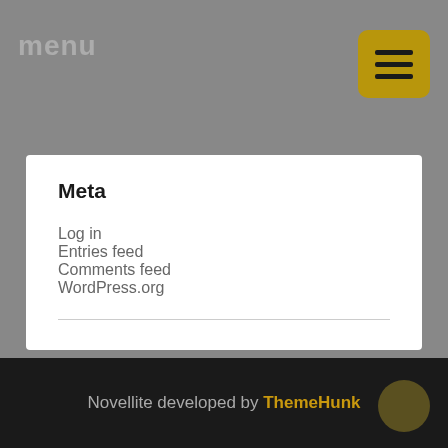menu
Meta
Log in
Entries feed
Comments feed
WordPress.org
Novellite developed by ThemeHunk